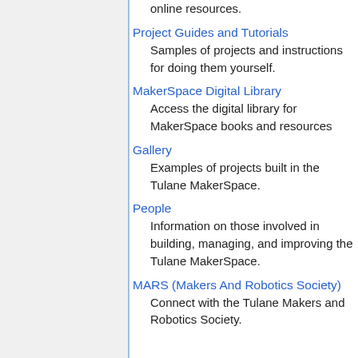online resources.
Project Guides and Tutorials
Samples of projects and instructions for doing them yourself.
MakerSpace Digital Library
Access the digital library for MakerSpace books and resources
Gallery
Examples of projects built in the Tulane MakerSpace.
People
Information on those involved in building, managing, and improving the Tulane MakerSpace.
MARS (Makers And Robotics Society)
Connect with the Tulane Makers and Robotics Society.